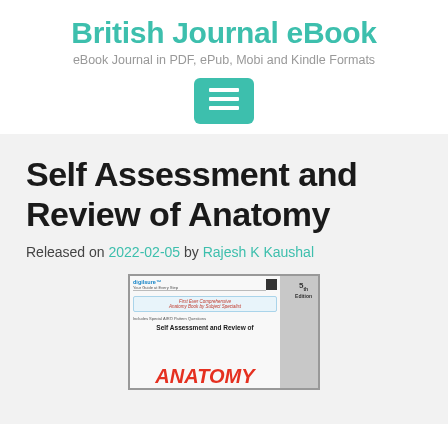British Journal eBook
eBook Journal in PDF, ePub, Mobi and Kindle Formats
[Figure (other): Menu/hamburger button icon with teal/green background]
Self Assessment and Review of Anatomy
Released on 2022-02-05 by Rajesh K Kaushal
[Figure (photo): Book cover of Self Assessment and Review of Anatomy, 5th edition, by Rajesh K Kaushal, showing red ANATOMY text at bottom]